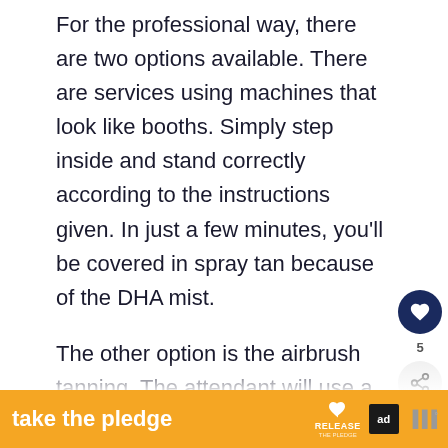For the professional way, there are two options available. There are services using machines that look like booths. Simply step inside and stand correctly according to the instructions given. In just a few minutes, you'll be covered in spray tan because of the DHA mist.
The other option is the airbrush tanning. The attendant will use a high-pressure spray to cover your body with tanning solution evenly. Another great thing about this process is you can target specific areas of your body. Some people like to emphasize their abs, muscles, and cleavage with a...
[Figure (screenshot): Social media UI overlay: heart/like button (dark navy circle with white heart icon), count label '5', share button (light grey circle with share icon). 'What's Next' widget showing a thumbnail image (person sleeping) with text 'WHAT'S NEXT → How to Sleep with a...']
[Figure (screenshot): Ad banner at bottom: orange background with 'take the pledge' text in white bold, RELEASE logo with heart icon, ad icon box, and brand logo marks.]